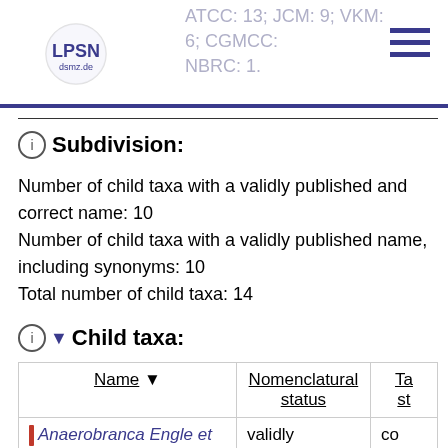ATCC: 13; JCM: 9; VKM: 6; CGMCC: NBRC: 1.
ⓘ Subdivision:
Number of child taxa with a validly published and correct name: 10
Number of child taxa with a validly published name, including synonyms: 10
Total number of child taxa: 14
ⓘ ▼ Child taxa:
| Name ▼ | Nomenclatural status | Ta... st... |
| --- | --- | --- |
| | Anaerobranca Engle et al. 1995 | validly published under the | co na |